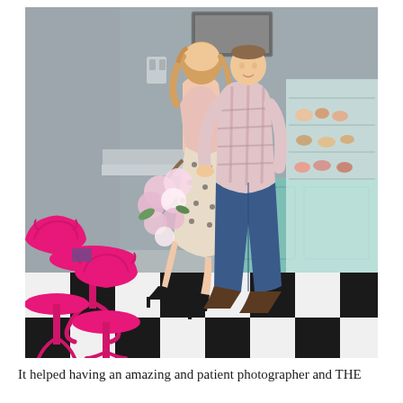[Figure (photo): A couple posing inside a bakery or dessert shop. The woman wears a light pink top with a polka-dot skirt and black heels, holding a large bouquet of pink and white roses. The man wears a pink plaid shirt and jeans. They stand near a glass display case full of pastries. Pink iron bistro chairs and a small pink table are visible on the left. The floor has a black and white checkerboard pattern. The walls are painted gray with mint/teal wainscoting.]
It helped having an amazing and patient photographer and THE